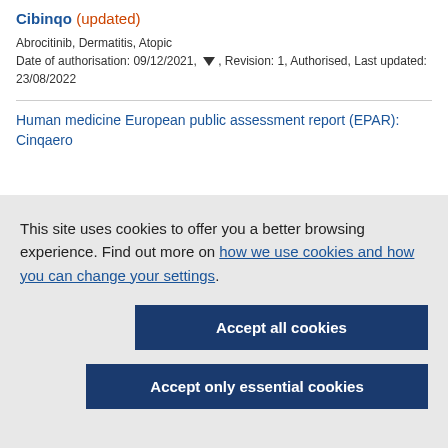Cibinqo (updated)
Abrocitinib, Dermatitis, Atopic
Date of authorisation: 09/12/2021, ▼, Revision: 1, Authorised, Last updated: 23/08/2022
Human medicine European public assessment report (EPAR): Cinqaero
This site uses cookies to offer you a better browsing experience. Find out more on how we use cookies and how you can change your settings.
Accept all cookies
Accept only essential cookies